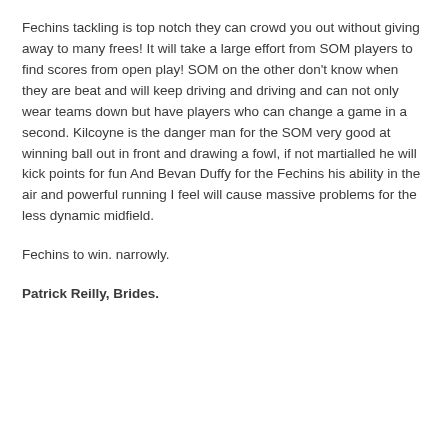Fechins tackling is top notch they can crowd you out without giving away to many frees! It will take a large effort from SOM players to find scores from open play! SOM on the other don't know when they are beat and will keep driving and driving and can not only wear teams down but have players who can change a game in a second. Kilcoyne is the danger man for the SOM very good at winning ball out in front and drawing a fowl, if not martialled he will kick points for fun And Bevan Duffy for the Fechins his ability in the air and powerful running I feel will cause massive problems for the less dynamic midfield.
Fechins to win. narrowly.
Patrick Reilly, Brides.